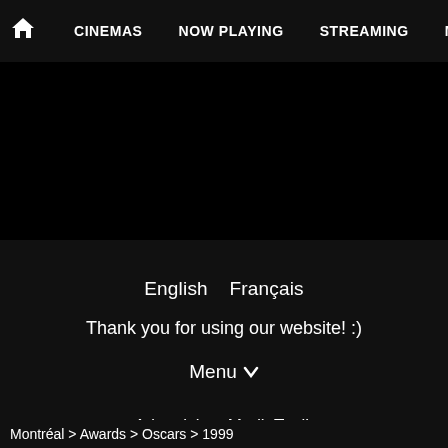🏠 CINEMAS   NOW PLAYING   STREAMING   MORE ∨
English   Français
Thank you for using our website! :)
Menu ∨
Advertising: MediaTonik
Hosting: Syspark
© 1996-2022 Cinema Clock Inc. ®
[Figure (illustration): Cyan circle with upward chevron arrow (scroll to top button)]
Montréal > Awards > Oscars > 1999